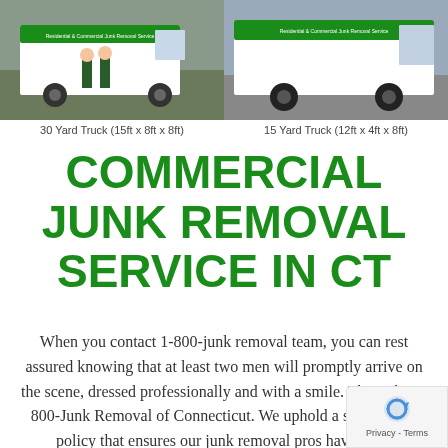[Figure (photo): Two men standing in front of a white junk removal truck with green branding reading 'Residential & Commercial Junk Removal Service']
[Figure (photo): Close-up side view of a junk removal truck with green branding reading 'Residential & Commercial Junk Removal Service']
30 Yard Truck (15ft x 8ft x 8ft)
15 Yard Truck (12ft x 4ft x 8ft)
COMMERCIAL JUNK REMOVAL SERVICE IN CT
When you contact 1-800-junk removal team, you can rest assured knowing that at least two men will promptly arrive on the scene, dressed professionally and with a smile. That's the 1-800-Junk Removal of Connecticut. We uphold a strict hiring policy that ensures our junk removal pros have great personalities along with the physical strength required to haul away your junk in a timely and efficient manner. Trust us for servicing and junk removal in Connecticut